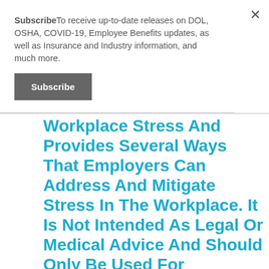SubscribeTo receive up-to-date releases on DOL, OSHA, COVID-19, Employee Benefits updates, as well as Insurance and Industry information, and much more.
Subscribe
Workplace Stress And Provides Several Ways That Employers Can Address And Mitigate Stress In The Workplace. It Is Not Intended As Legal Or Medical Advice And Should Only Be Used For Informational